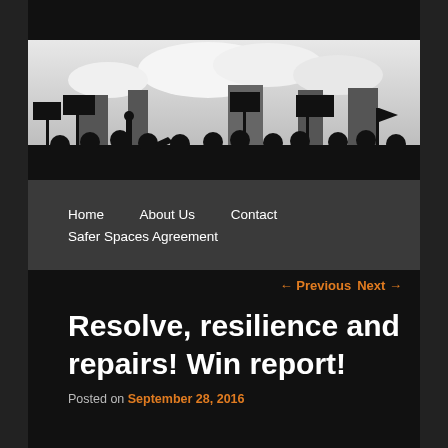[Figure (illustration): Black silhouette of protesters holding signs and banners against a grey/white sky background]
Home   About Us   Contact
Safer Spaces Agreement
← Previous   Next →
Resolve, resilience and repairs! Win report!
Posted on September 28, 2016